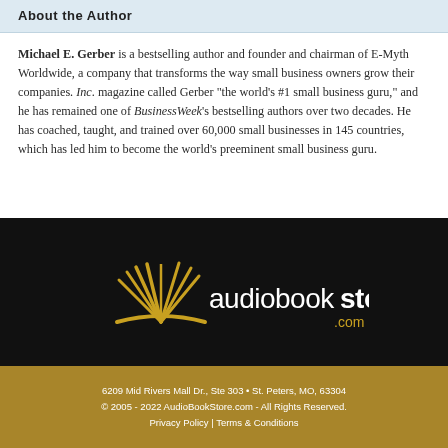About the Author
Michael E. Gerber is a bestselling author and founder and chairman of E-Myth Worldwide, a company that transforms the way small business owners grow their companies. Inc. magazine called Gerber “the world’s #1 small business guru,” and he has remained one of BusinessWeek’s bestselling authors over two decades. He has coached, taught, and trained over 60,000 small businesses in 145 countries, which has led him to become the world’s preeminent small business guru.
[Figure (logo): AudioBookStore.com logo — open book icon in gold/yellow on black background, with 'audiobookstore.com' in white and gold text]
6209 Mid Rivers Mall Dr., Ste 303 • St. Peters, MO, 63304
© 2005 - 2022 AudioBookStore.com - All Rights Reserved.
Privacy Policy | Terms & Conditions